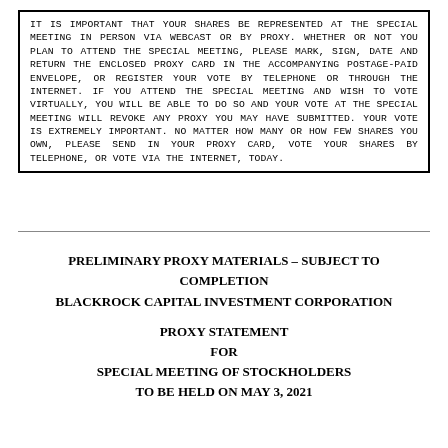IT IS IMPORTANT THAT YOUR SHARES BE REPRESENTED AT THE SPECIAL MEETING IN PERSON VIA WEBCAST OR BY PROXY. WHETHER OR NOT YOU PLAN TO ATTEND THE SPECIAL MEETING, PLEASE MARK, SIGN, DATE AND RETURN THE ENCLOSED PROXY CARD IN THE ACCOMPANYING POSTAGE-PAID ENVELOPE, OR REGISTER YOUR VOTE BY TELEPHONE OR THROUGH THE INTERNET. IF YOU ATTEND THE SPECIAL MEETING AND WISH TO VOTE VIRTUALLY, YOU WILL BE ABLE TO DO SO AND YOUR VOTE AT THE SPECIAL MEETING WILL REVOKE ANY PROXY YOU MAY HAVE SUBMITTED. YOUR VOTE IS EXTREMELY IMPORTANT. NO MATTER HOW MANY OR HOW FEW SHARES YOU OWN, PLEASE SEND IN YOUR PROXY CARD, VOTE YOUR SHARES BY TELEPHONE, OR VOTE VIA THE INTERNET, TODAY.
PRELIMINARY PROXY MATERIALS – SUBJECT TO COMPLETION
BLACKROCK CAPITAL INVESTMENT CORPORATION

PROXY STATEMENT
FOR
SPECIAL MEETING OF STOCKHOLDERS
TO BE HELD ON MAY 3, 2021